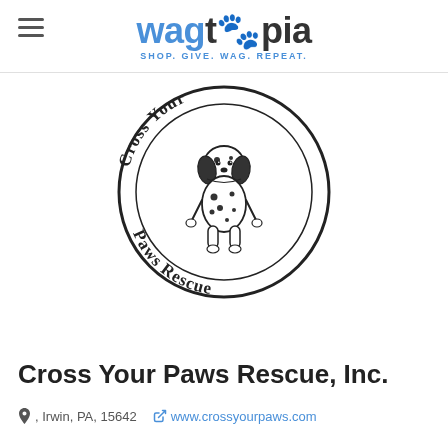wagtopia — SHOP. GIVE. WAG. REPEAT.
[Figure (logo): Cross Your Paws Rescue circular logo with a Dalmatian dog in the center and text 'Cross Your Paws Rescue' around the circle border]
Cross Your Paws Rescue, Inc.
Irwin, PA, 15642   www.crossyourpaws.com